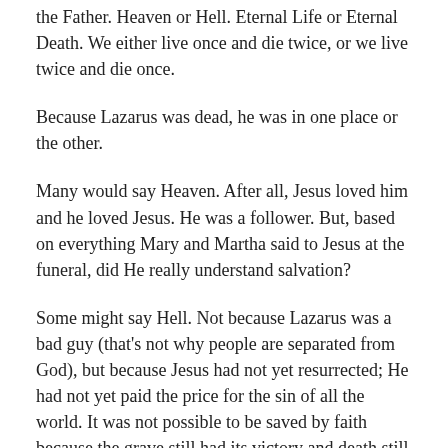…Father, or a desperate dissatisfaction, the presence of the Father. Heaven or Hell. Eternal Life or Eternal Death. We either live once and die twice, or we live twice and die once.
Because Lazarus was dead, he was in one place or the other.
Many would say Heaven. After all, Jesus loved him and he loved Jesus. He was a follower. But, based on everything Mary and Martha said to Jesus at the funeral, did He really understand salvation?
Some might say Hell. Not because Lazarus was a bad guy (that's not why people are separated from God), but because Jesus had not yet resurrected; He had not yet paid the price for the sin of all the world. It was not possible to be saved by faith because the grave still had its victory and death still had its sting. (1 Cor 15:55).